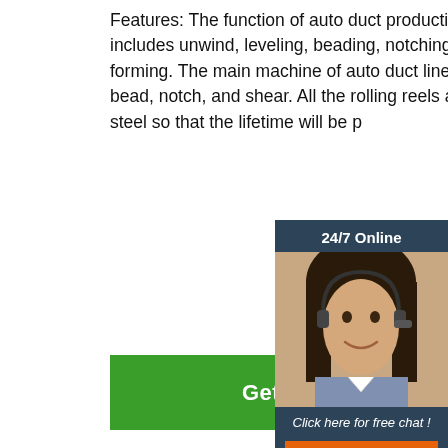Features: The function of auto duct production line 4 mainly includes unwind, leveling, beading, notching, locking and flange forming. The main machine of auto duct line 4 is used to level, bead, notch, and shear. All the rolling reels are bearing steel so that the lifetime will be p
[Figure (other): Green 'Get Price' button]
[Figure (photo): Chat widget with 24/7 Online header, photo of female customer service representative wearing headset, 'Click here for free chat!' text, and orange QUOTATION button]
[Figure (photo): Industrial factory photo showing orange auto duct production line machines in a large manufacturing facility with high ceilings]